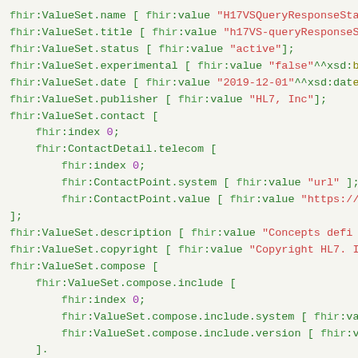Code block showing FHIR RDF/Turtle syntax for a ValueSet resource including fields: name, title, status, experimental, date, publisher, contact, description, copyright, compose with nested structures